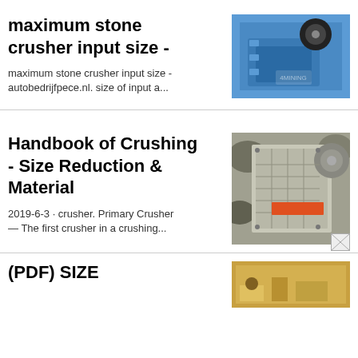maximum stone crusher input size -
[Figure (photo): Blue jaw crusher machine]
maximum stone crusher input size - autobedrijfpece.nl. size of input a...
Handbook of Crushing - Size Reduction & Material
[Figure (photo): Grey jaw crusher with orange panel and rocks]
2019-6-3 · crusher. Primary Crusher — The first crusher in a crushing...
[Figure (photo): Small broken image icon]
(PDF) SIZE